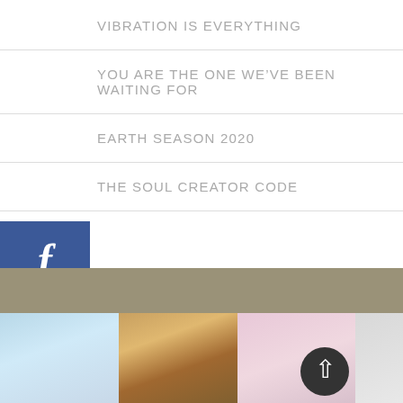VIBRATION IS EVERYTHING
YOU ARE THE ONE WE'VE BEEN WAITING FOR
EARTH SEASON 2020
THE SOUL CREATOR CODE
[Figure (infographic): Social media sidebar with Facebook, LinkedIn, Instagram, and email icons stacked vertically on the left side]
[Figure (photo): Bottom section showing a tan/olive horizontal bar above a row of thumbnail images: blue sky scene, cat with autumn foliage, pink-toned image, and partial image on right edge. A dark circular up-arrow button overlays the images.]